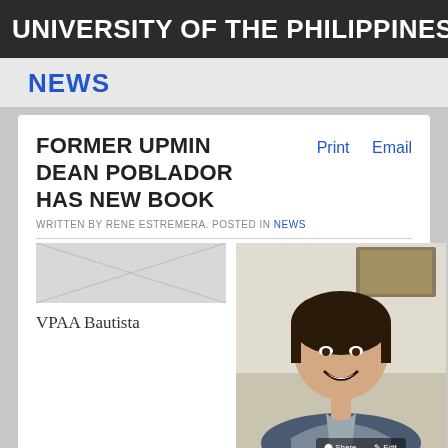UNIVERSITY OF THE PHILIPPINES MINDANAO
NEWS
FORMER UPMIN DEAN POBLADOR HAS NEW BOOK
WRITTEN BY RENE ESTREMERA. POSTED IN NEWS
[Figure (photo): Photograph of VPAA Bautista (partially visible)]
[Figure (photo): Photograph of Chancellor Murao seated at a desk, smiling, with artwork visible in background]
VPAA Bautista
Chancellor Murao